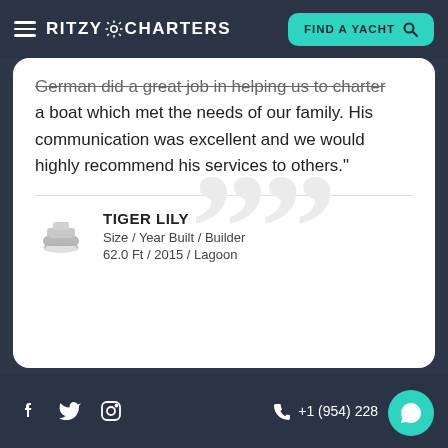RITZY CHARTERS | FIND A YACHT
German did a great job in helping us to charter a boat which met the needs of our family. His communication was excellent and we would highly recommend his services to others."
TIGER LILY
Size / Year Built / Builder
62.0 Ft / 2015 / Lagoon
+1 (954) 228...